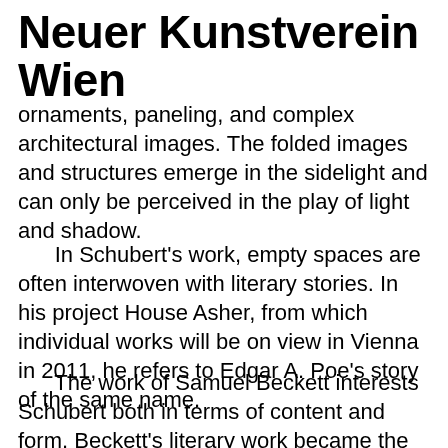Neuer Kunstverein Wien
ornaments, paneling, and complex architectural images. The folded images and structures emerge in the sidelight and can only be perceived in the play of light and shadow.
In Schubert's work, empty spaces are often interwoven with literary stories. In his project House Asher, from which individual works will be on view in Vienna in 2011, he refers to Edgar A. Poe's story of the same name.
The work of Samuel Beckett interests Schubert both in terms of content and form. Beckett's literary work became the